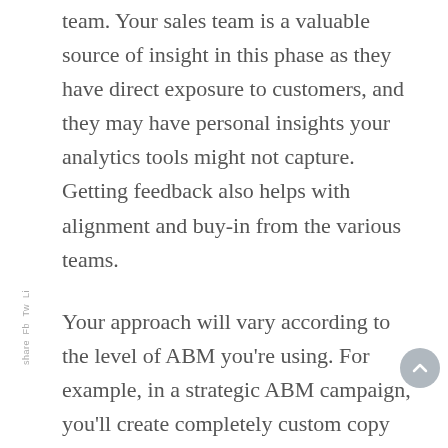team. Your sales team is a valuable source of insight in this phase as they have direct exposure to customers, and they may have personal insights your analytics tools might not capture. Getting feedback also helps with alignment and buy-in from the various teams.
Your approach will vary according to the level of ABM you're using. For example, in a strategic ABM campaign, you'll create completely custom copy for sales enablement tools such as an eBook or an